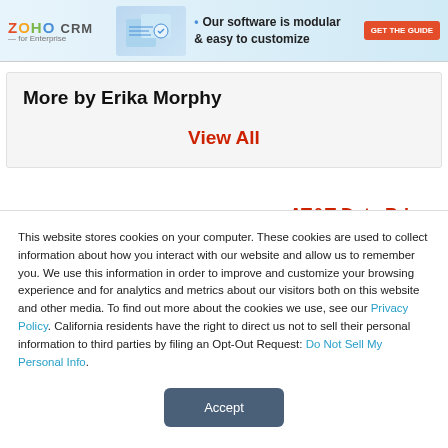[Figure (other): Zoho CRM for Enterprise banner advertisement with tagline 'Our software is modular & easy to customize' and a red 'GET THE GUIDE' button]
More by Erika Morphy
View All
AT&T Data Price...
This website stores cookies on your computer. These cookies are used to collect information about how you interact with our website and allow us to remember you. We use this information in order to improve and customize your browsing experience and for analytics and metrics about our visitors both on this website and other media. To find out more about the cookies we use, see our Privacy Policy. California residents have the right to direct us not to sell their personal information to third parties by filing an Opt-Out Request: Do Not Sell My Personal Info.
Accept